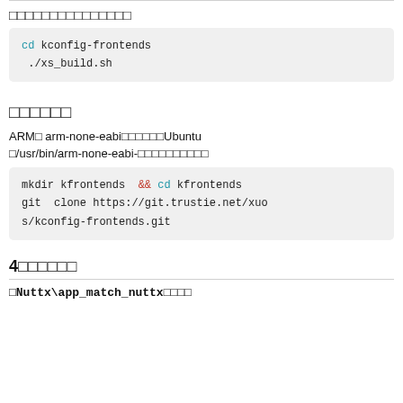□□□□□□□□□□□□□□□
cd kconfig-frontends
./xs_build.sh
□□□□□□
ARM□ arm-none-eabi□□□□□□Ubuntu□/usr/bin/arm-none-eabi-□□□□□□□□□□
mkdir kfrontends  && cd kfrontends
git  clone https://git.trustie.net/xuos/kconfig-frontends.git
4□□□□□□
□Nuttx\app_match_nuttx□□□□